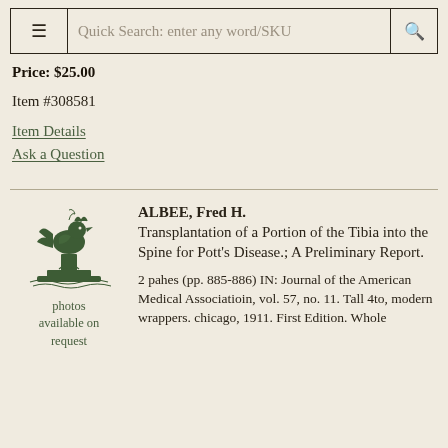Quick Search: enter any word/SKU
Price: $25.00
Item #308581
Item Details
Ask a Question
[Figure (illustration): Small decorative illustration of a rooster or bird figure on a pedestal, in dark green ink, used as a bookseller logo]
photos available on request
ALBEE, Fred H.
Transplantation of a Portion of the Tibia into the Spine for Pott's Disease.; A Preliminary Report.
2 pahes (pp. 885-886) IN: Journal of the American Medical Associatioin, vol. 57, no. 11. Tall 4to, modern wrappers. chicago, 1911. First Edition. Whole